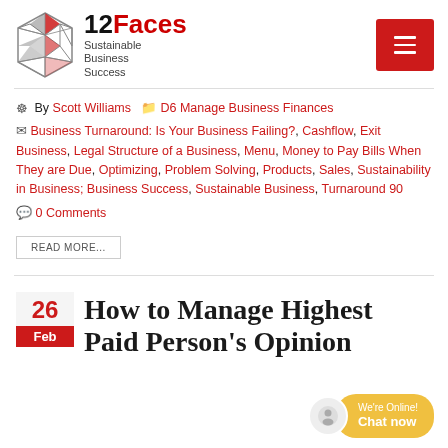[Figure (logo): 12Faces Sustainable Business Success logo with geometric red and black dodecahedron icon]
By Scott Williams | D6 Manage Business Finances | Business Turnaround: Is Your Business Failing?, Cashflow, Exit Business, Legal Structure of a Business, Menu, Money to Pay Bills When They are Due, Optimizing, Problem Solving, Products, Sales, Sustainability in Business; Business Success, Sustainable Business, Turnaround 90 | 0 Comments
READ MORE...
How to Manage Highest Paid Person's Opinion